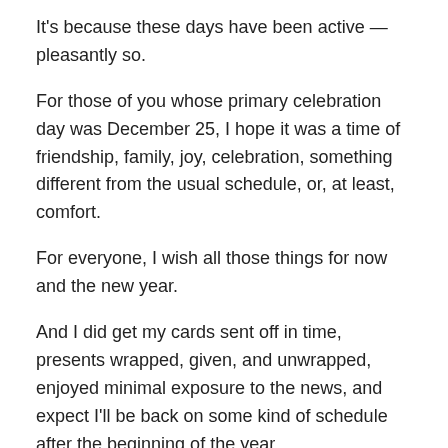It's because these days have been active — pleasantly so.
For those of you whose primary celebration day was December 25, I hope it was a time of friendship, family, joy, celebration, something different from the usual schedule, or, at least, comfort.
For everyone, I wish all those things for now and the new year.
And I did get my cards sent off in time, presents wrapped, given, and unwrapped, enjoyed minimal exposure to the news, and expect I'll be back on some kind of schedule after the beginning of the year.
Share this: